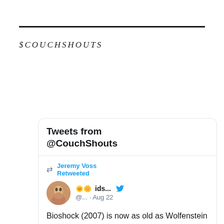@COUCHSHOUTS
[Figure (screenshot): Embedded Twitter widget showing 'Tweets from @CouchShouts'. Contains a retweet by Jeremy Voss of a tweet by ids... (@...) from Aug 22 reading: 'Bioshock (2007) is now as old as Wolfenstein 3D (1992) was when Bioshock was released.']